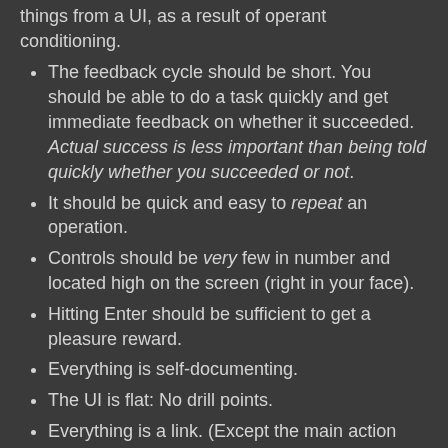things from a UI, as a result of operant conditioning.
The feedback cycle should be short. You should be able to do a task quickly and get immediate feedback on whether it succeeded. Actual success is less important than being told quickly whether you succeeded or not.
It should be quick and easy to repeat an operation.
Controls should be very few in number and located high on the screen (right in your face).
Hitting Enter should be sufficient to get a pleasure reward.
Everything is self-documenting.
The UI is flat: No drill points.
Everything is a link. (Except the main action controls: text field and button.)
Note that of the two required controls (text field, button), one is actually superfluous since you can just as easily hit Enter as click the button. In fact, it's easier to hit Enter.